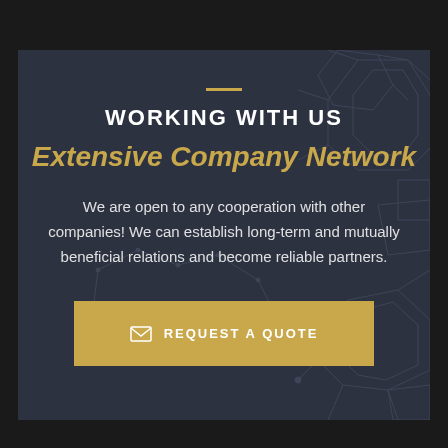WORKING WITH US
Extensive Company Network
We are open to any cooperation with other companies! We can establish long-term and mutually beneficial relations and become reliable partners.
[Figure (other): Gold button labeled REQUEST A QUOTE with envelope icon]